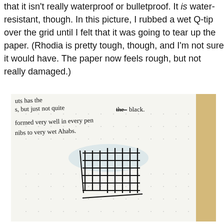that it isn't really waterproof or bulletproof. It is water-resistant, though. In this picture, I rubbed a wet Q-tip over the grid until I felt that it was going to tear up the paper. (Rhodia is pretty tough, though, and I'm not sure it would have. The paper now feels rough, but not really damaged.)
[Figure (photo): Photo of a dotted notebook page with handwritten text and a grid drawn on the page, with a damp/wet area visible where a Q-tip was rubbed over the grid.]